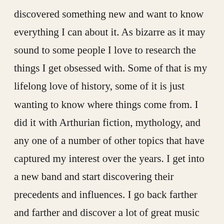discovered something new and want to know everything I can about it. As bizarre as it may sound to some people I love to research the things I get obsessed with. Some of that is my lifelong love of history, some of it is just wanting to know where things come from. I did it with Arthurian fiction, mythology, and any one of a number of other topics that have captured my interest over the years. I get into a new band and start discovering their precedents and influences. I go back farther and farther and discover a lot of great music along the way. The same is true of the comics I'm into. Both of these hobbies are life-long obsessions for me, but I'm still finding connections I didn't